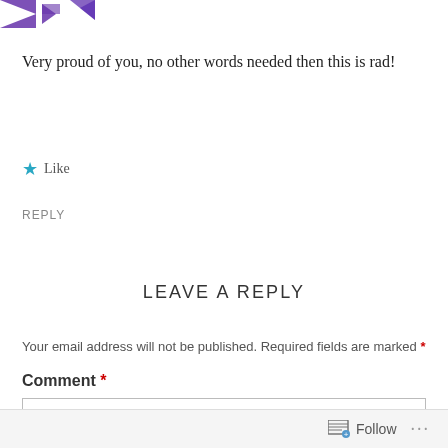[Figure (logo): Partial logo with purple star/arrow shapes at top left]
Very proud of you, no other words needed then this is rad!
★ Like
REPLY
LEAVE A REPLY
Your email address will not be published. Required fields are marked *
Comment *
Follow ...